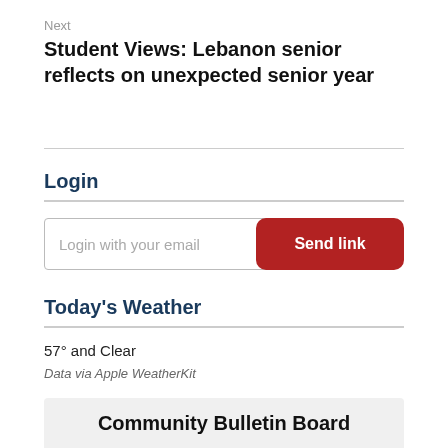Next
Student Views: Lebanon senior reflects on unexpected senior year
Login
Login with your email
Send link
Today's Weather
57° and Clear
Data via Apple WeatherKit
Community Bulletin Board